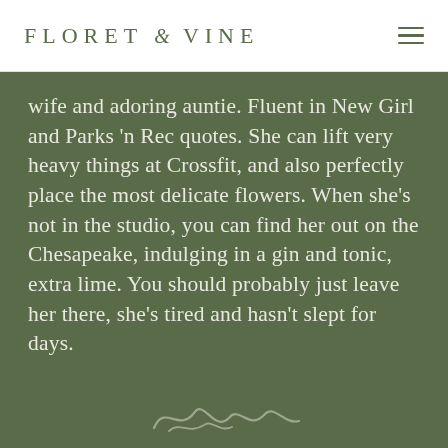FLORET & VINE
wife and adoring auntie. Fluent in New Girl and Parks 'n Rec quotes. She can lift very heavy things at Crossfit, and also perfectly place the most delicate flowers. When she's not in the studio, you can find her out on the Chesapeake, indulging in a gin and tonic, extra lime. You should probably just leave her there, she's tired and hasn't slept for days.
[Figure (illustration): Cursive signature or decorative script at the bottom of the green section]